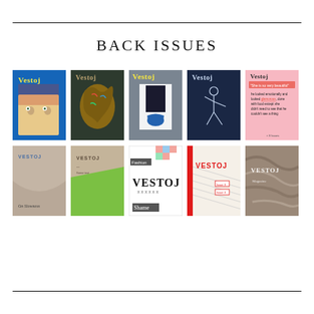BACK ISSUES
[Figure (illustration): Grid of 10 Vestoj magazine back issue covers arranged in 2 rows of 5. Row 1: blue cover with illustrated face, dark green cover with hair illustration, grey cover with abstract figure, navy cover with line drawing figure, pink cover with text. Row 2: tan/beige 'On Slowness' cover, tan and green geometric cover, white 'Fashion' and 'Shame' cover, red-stripe 'Vestoj' cover, marble-texture 'Vestoj' cover.]